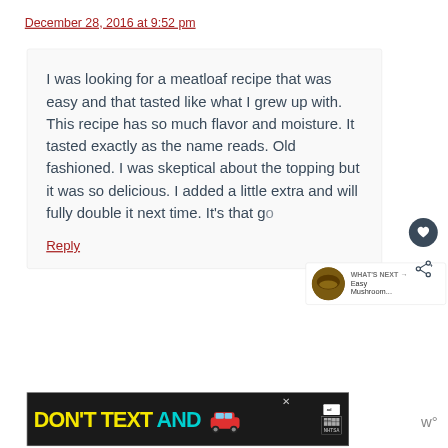December 28, 2016 at 9:52 pm
I was looking for a meatloaf recipe that was easy and that tasted like what I grew up with. This recipe has so much flavor and moisture. It tasted exactly as the name reads. Old fashioned. I was skeptical about the topping but it was so delicious. I added a little extra and will fully double it next time. It’s that g…
Reply
[Figure (screenshot): Advertisement banner at the bottom: DON'T TEXT AND [car image] with ad logo and NHTSA branding, with a close X button]
[Figure (infographic): What's Next overlay showing a mushroom thumbnail and text 'Easy Mushroom...']